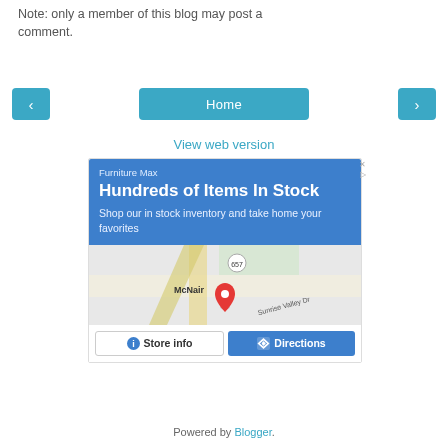Note: only a member of this blog may post a comment.
< Home >
View web version
[Figure (screenshot): An advertisement for Furniture Max showing a blue banner with the text 'Furniture Max', 'Hundreds of Items In Stock', 'Shop our in stock inventory and take home your favorites', a Google Maps embed showing McNair area with a red pin, and two buttons: 'Store info' and 'Directions'.]
Powered by Blogger.